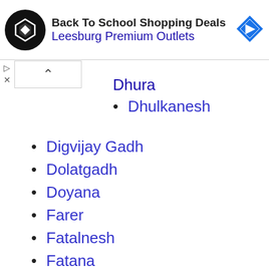[Figure (screenshot): Advertisement banner for Back To School Shopping Deals at Leesburg Premium Outlets]
Dhulkanesh
Digvijay Gadh
Dolatgadh
Doyana
Farer
Fatalnesh
Fatana
Gadhavana
Gandiyavala
Garej
Godhana
Gokran
Gorsar
Gosa